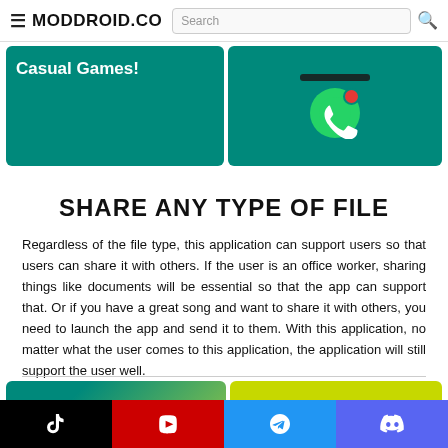≡ MODDROID.CO  Search 🔍
[Figure (screenshot): Two banner images side by side. Left: teal background with white bold text 'Casual Games!'. Right: teal background with WhatsApp green icon with red notification badge and a phone mockup bar.]
SHARE ANY TYPE OF FILE
Regardless of the file type, this application can support users so that users can share it with others. If the user is an office worker, sharing things like documents will be essential so that the app can support that. Or if you have a great song and want to share it with others, you need to launch the app and send it to them. With this application, no matter what the user comes to this application, the application will still support the user well.
[Figure (screenshot): Two partial banner images side by side at the bottom. Left: teal/green gradient with circular decorative shape. Right: bright yellow-green solid color.]
TikTok | YouTube | Telegram | Discord — social media icon bar